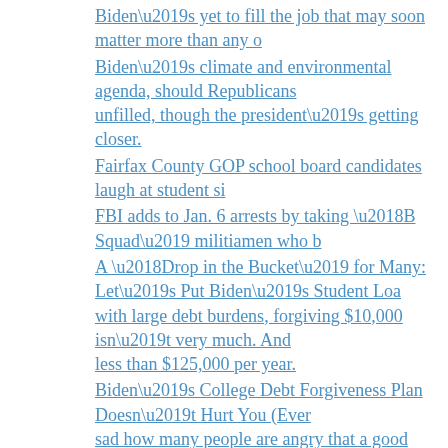Biden’s yet to fill the job that may soon matter more than any o…
Biden’s climate and environmental agenda, should Republicans… unfilled, though the president’s getting closer.
Fairfax County GOP school board candidates laugh at student si…
FBI adds to Jan. 6 arrests by taking ‘B Squad’ militiamen who b…
A ‘Drop in the Bucket’ for Many: Let’s Put Biden’s Student Loa… with large debt burdens, forgiving $10,000 isn’t very much. An… less than $125,000 per year.
Biden’s College Debt Forgiveness Plan Doesn’t Hurt You (Ever… sad how many people are angry that a good thing happened to o…
A Lot Of “Middle Class Tax Breaks” Benefit The Rich, Mostly…
Biden’s Cancellation of Billions in Debt Won’t Solve the Large… some debt is what a country does when it refuses to support stu…
Why James O’Keefe’s Project Veritas Is Probably Every Kind o…
J.D. Vance Appeared With Podcaster Who Once Said “Feminist…
It’s Dangerous to Be a Woman in Texas
Posted in Lotsa Links | Leave a comment